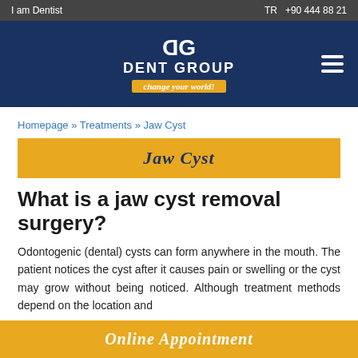I am Dentist | TR  +90 444 88 21
[Figure (logo): DentGroup logo with tagline 'change your world!' on dark blue background]
Homepage » Treatments » Jaw Cyst
Jaw Cyst
What is a jaw cyst removal surgery?
Odontogenic (dental) cysts can form anywhere in the mouth. The patient notices the cyst after it causes pain or swelling or the cyst may grow without being noticed. Although treatment methods depend on the location and
Online Appointment